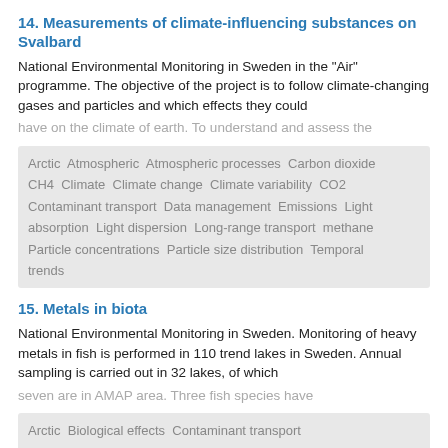14. Measurements of climate-influencing substances on Svalbard
National Environmental Monitoring in Sweden in the "Air" programme. The objective of the project is to follow climate-changing gases and particles and which effects they could have on the climate of earth. To understand and assess the
Arctic  Atmospheric  Atmospheric processes  Carbon dioxide  CH4  Climate  Climate change  Climate variability  CO2  Contaminant transport  Data management  Emissions  Light absorption  Light dispersion  Long-range transport  methane  Particle concentrations  Particle size distribution  Temporal trends
15. Metals in biota
National Environmental Monitoring in Sweden. Monitoring of heavy metals in fish is performed in 110 trend lakes in Sweden. Annual sampling is carried out in 32 lakes, of which seven are in AMAP area. Three fish species have
Arctic  Biological effects  Contaminant transport  contamination  Data management  Discharges  Fish  lakes  Local pollution  Mapping  Spatial trends  Temporal trends  trace